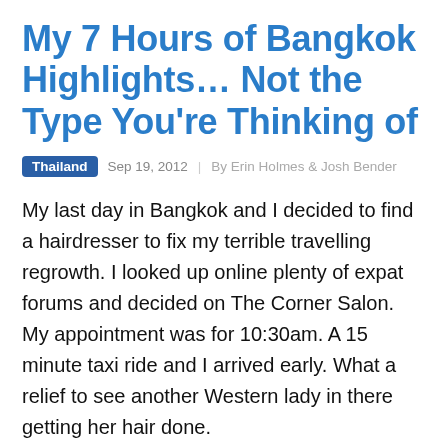My 7 Hours of Bangkok Highlights… Not the Type You're Thinking of
Thailand   Sep 19, 2012   By Erin Holmes & Josh Bender
My last day in Bangkok and I decided to find a hairdresser to fix my terrible travelling regrowth. I looked up online plenty of expat forums and decided on The Corner Salon. My appointment was for 10:30am. A 15 minute taxi ride and I arrived early. What a relief to see another Western lady in there getting her hair done.
The Manager spoke English and she sat me down to discuss what I wanted done. I showed her a picture and she had several staff members come and look, ooh and ahh, before letting me know it is possible. It